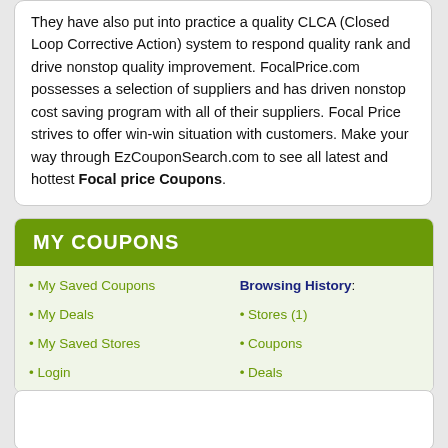They have also put into practice a quality CLCA (Closed Loop Corrective Action) system to respond quality rank and drive nonstop quality improvement. FocalPrice.com possesses a selection of suppliers and has driven nonstop cost saving program with all of their suppliers. Focal Price strives to offer win-win situation with customers. Make your way through EzCouponSearch.com to see all latest and hottest Focal price Coupons.
MY COUPONS
• My Saved Coupons
• My Deals
• My Saved Stores
• Login
Browsing History:
• Stores (1)
• Coupons
• Deals